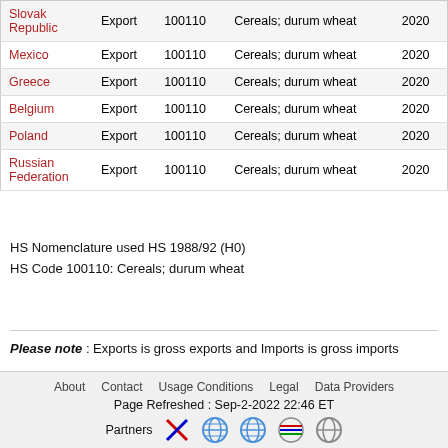| Country | Type | HS Code | Description | Year |
| --- | --- | --- | --- | --- |
| Slovak Republic | Export | 100110 | Cereals; durum wheat | 2020 |
| Mexico | Export | 100110 | Cereals; durum wheat | 2020 |
| Greece | Export | 100110 | Cereals; durum wheat | 2020 |
| Belgium | Export | 100110 | Cereals; durum wheat | 2020 |
| Poland | Export | 100110 | Cereals; durum wheat | 2020 |
| Russian Federation | Export | 100110 | Cereals; durum wheat | 2020 |
HS Nomenclature used HS 1988/92 (H0)
HS Code 100110: Cereals; durum wheat
Please note : Exports is gross exports and Imports is gross imports
About   Contact   Usage Conditions   Legal   Data Providers
Page Refreshed : Sep-2-2022 22:46 ET
Partners [icons]